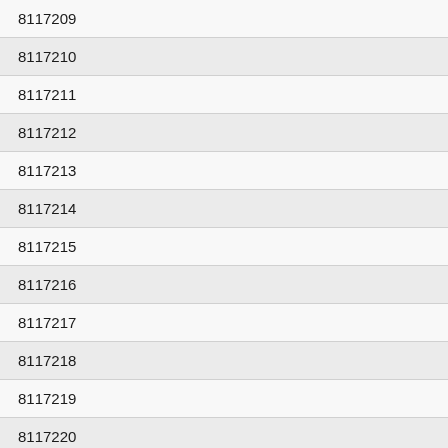| 8117209 |
| 8117210 |
| 8117211 |
| 8117212 |
| 8117213 |
| 8117214 |
| 8117215 |
| 8117216 |
| 8117217 |
| 8117218 |
| 8117219 |
| 8117220 |
| 8117221 |